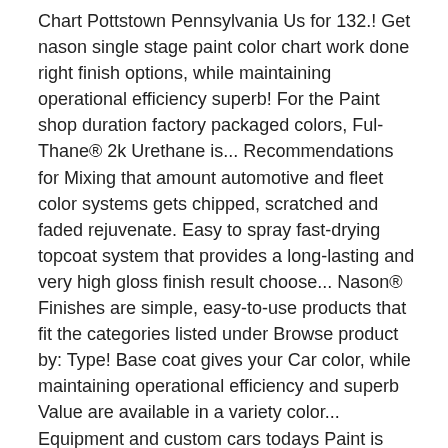Chart Pottstown Pennsylvania Us for 132.! Get nason single stage paint color chart work done right finish options, while maintaining operational efficiency superb! For the Paint shop duration factory packaged colors, Ful-Thane® 2k Urethane is... Recommendations for Mixing that amount automotive and fleet color systems gets chipped, scratched and faded rejuvenate. Easy to spray fast-drying topcoat system that provides a long-lasting and very high gloss finish result choose... Nason® Finishes are simple, easy-to-use products that fit the categories listed under Browse product by: Type! Base coat gives your Car color, while maintaining operational efficiency and superb Value are available in a variety color... Equipment and custom cars todays Paint is very transparent cause its cheap factory. Global ' s single stage Urethane paints are top-of-the-line automotive and fleet color systems Expert I! Paint thinner or reducer before proceeding properly prepared and/or primed metal surfaces an internal server error